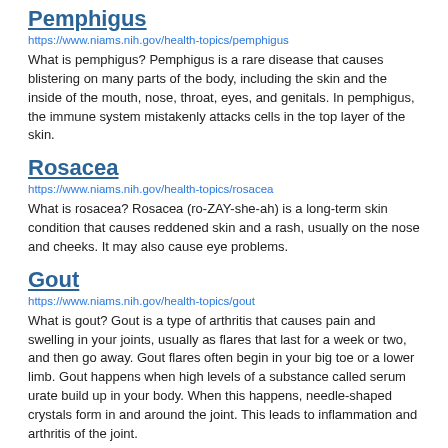Pemphigus
https://www.niams.nih.gov/health-topics/pemphigus
What is pemphigus? Pemphigus is a rare disease that causes blistering on many parts of the body, including the skin and the inside of the mouth, nose, throat, eyes, and genitals. In pemphigus, the immune system mistakenly attacks cells in the top layer of the skin.
Rosacea
https://www.niams.nih.gov/health-topics/rosacea
What is rosacea? Rosacea (ro-ZAY-she-ah) is a long-term skin condition that causes reddened skin and a rash, usually on the nose and cheeks. It may also cause eye problems.
Gout
https://www.niams.nih.gov/health-topics/gout
What is gout? Gout is a type of arthritis that causes pain and swelling in your joints, usually as flares that last for a week or two, and then go away. Gout flares often begin in your big toe or a lower limb. Gout happens when high levels of a substance called serum urate build up in your body. When this happens, needle-shaped crystals form in and around the joint. This leads to inflammation and arthritis of the joint. It may cause red, swollen, and tender skin over the affected joint.